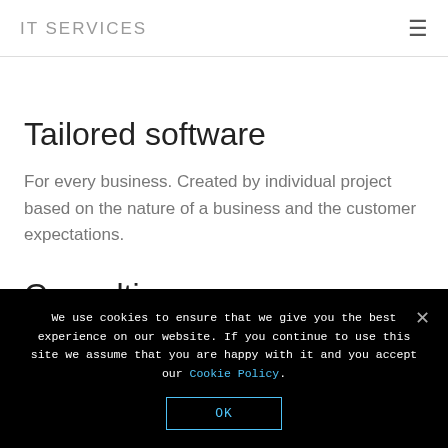IT SERVICES
Tailored software
For every business. Created by individual project based on the nature of a business and the customer expectations.
Consulting
We offer our knowledge and experience. We advise on choice of technology and help to
We use cookies to ensure that we give you the best experience on our website. If you continue to use this site we assume that you are happy with it and you accept our Cookie Policy.